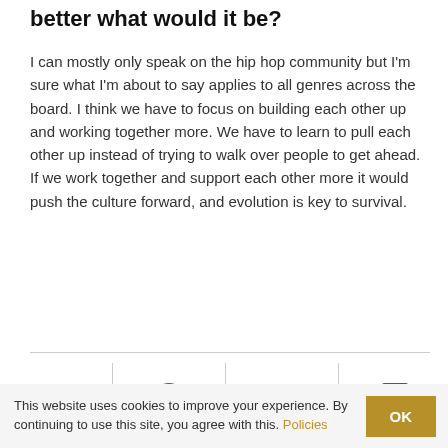better what would it be?
I can mostly only speak on the hip hop community but I'm sure what I'm about to say applies to all genres across the board. I think we have to focus on building each other up and working together more. We have to learn to pull each other up instead of trying to walk over people to get ahead. If we work together and support each other more it would push the culture forward, and evolution is key to survival.
[Figure (infographic): Social sharing icons row: email (envelope), Facebook (f), Twitter (bird), LinkedIn (in), separated by vertical dividers]
This website uses cookies to improve your experience. By continuing to use this site, you agree with this. Policies